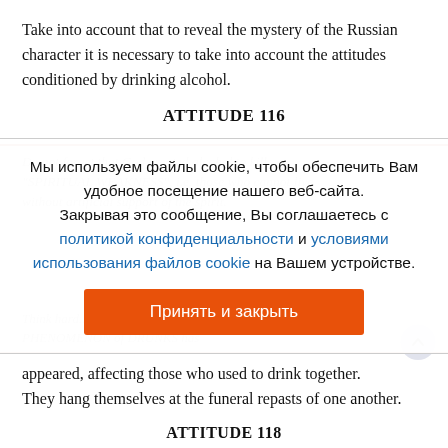Take into account that to reveal the mystery of the Russian character it is necessary to take into account the attitudes conditioned by drinking alcohol.
ATTITUDE 116
[Figure (other): Cookie consent overlay dialog in Russian over a partially visible English text about alcohol and spirit. Contains cookie policy message, links to privacy policy and cookie terms, and an orange accept button labeled 'Принять и закрыть'.]
appeared, affecting those who used to drink together. They hang themselves at the funeral repasts of one another.
ATTITUDE 118